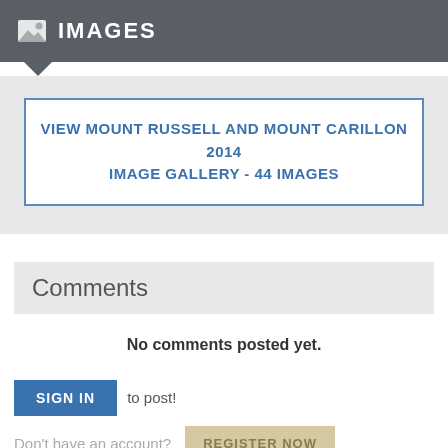IMAGES
VIEW MOUNT RUSSELL AND MOUNT CARILLON 2014 IMAGE GALLERY - 44 IMAGES
Comments
No comments posted yet.
SIGN IN  to post!
Don't have an account?  REGISTER NOW